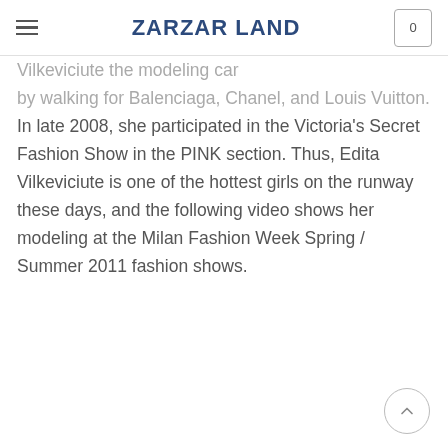ZARZAR LAND
Vilkeviciute the modeling career by walking for Balenciaga, Chanel, and Louis Vuitton. In late 2008, she participated in the Victoria's Secret Fashion Show in the PINK section. Thus, Edita Vilkeviciute is one of the hottest girls on the runway these days, and the following video shows her modeling at the Milan Fashion Week Spring / Summer 2011 fashion shows.